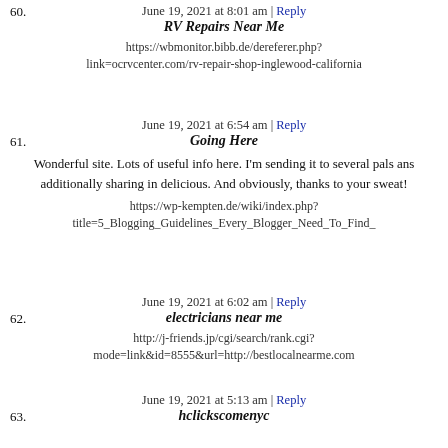60. June 19, 2021 at 8:01 am | Reply
RV Repairs Near Me
https://wbmonitor.bibb.de/dereferer.php?link=ocrvcenter.com/rv-repair-shop-inglewood-california
61. June 19, 2021 at 6:54 am | Reply
Going Here
Wonderful site. Lots of useful info here. I'm sending it to several pals ans additionally sharing in delicious. And obviously, thanks to your sweat!
https://wp-kempten.de/wiki/index.php?title=5_Blogging_Guidelines_Every_Blogger_Need_To_Find_
62. June 19, 2021 at 6:02 am | Reply
electricians near me
http://j-friends.jp/cgi/search/rank.cgi?mode=link&id=8555&url=http://bestlocalnearme.com
63. June 19, 2021 at 5:13 am | Reply
hclickscomenyc